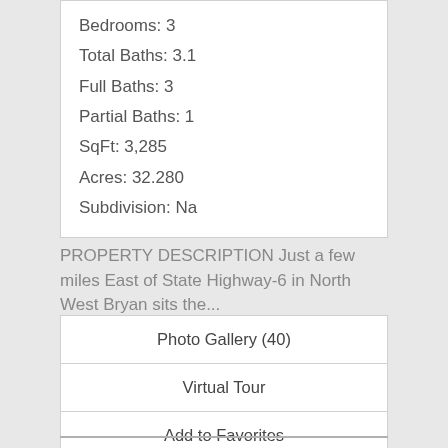Bedrooms: 3
Total Baths: 3.1
Full Baths: 3
Partial Baths: 1
SqFt: 3,285
Acres: 32.280
Subdivision: Na
PROPERTY DESCRIPTION Just a few miles East of State Highway-6 in North West Bryan sits the...
Photo Gallery (40)
Virtual Tour
Add to Favorites
View Details